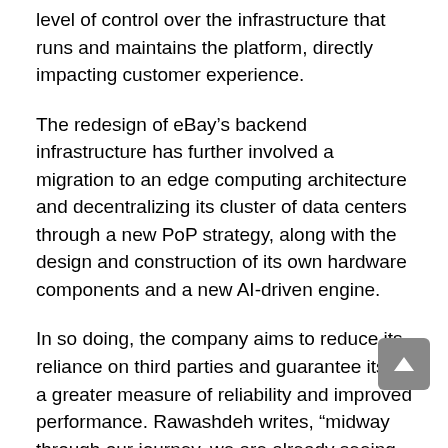level of control over the infrastructure that runs and maintains the platform, directly impacting customer experience.
The redesign of eBay's backend infrastructure has further involved a migration to an edge computing architecture and decentralizing its cluster of data centers through a new PoP strategy, along with the design and construction of its own hardware components and a new AI-driven engine.
In so doing, the company aims to reduce its reliance on third parties and guarantee itself a greater measure of reliability and improved performance. Rawashdeh writes, “midway through our journey, we are already seeing meaningful results that offer greater predictability, more control and needed flexibility”. He also boasts that while for other companies, such extensive replatforming would typically involve a